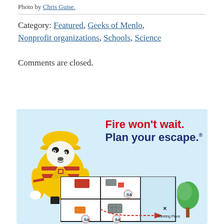Photo by Chris Guise.
Category: Featured, Geeks of Menlo, Nonprofit organizations, Schools, Science
Comments are closed.
[Figure (illustration): Fire safety public service announcement image with a cartoon Dalmatian dog dressed as a firefighter in yellow gear with red stripes, standing next to bold text reading 'Fire won't wait. Plan your escape.' Below is a floor plan diagram showing escape routes marked with red dashed arrows leading to an X marked 'Meeting Place', with a tree illustration outside the house floor plan. Light blue background.]